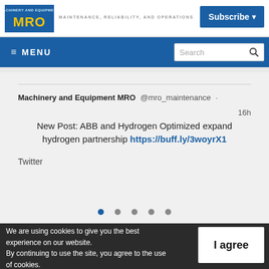MRO - MAINTENANCE, RELIABILITY, AND OPERATIONS | Subscribe
[Figure (screenshot): MRO logo with yellow text on blue background, tagline: MAINTENANCE, RELIABILITY, AND OPERATIONS]
≡ MENU
Search
Machinery and Equipment MRO @mro_maintenance · 16h
New Post: ABB and Hydrogen Optimized expand hydrogen partnership https://buff.ly/3woyrX1
Twitter
We are using cookies to give you the best experience on our website.
By continuing to use the site, you agree to the use of cookies.
To find out more, read our privacy policy.